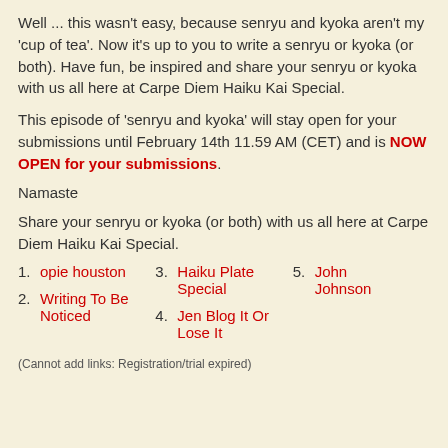Well ... this wasn't easy, because senryu and kyoka aren't my 'cup of tea'. Now it's up to you to write a senryu or kyoka (or both). Have fun, be inspired and share your senryu or kyoka with us all here at Carpe Diem Haiku Kai Special.
This episode of 'senryu and kyoka' will stay open for your submissions until February 14th 11.59 AM (CET) and is NOW OPEN for your submissions.
Namaste
Share your senryu or kyoka (or both) with us all here at Carpe Diem Haiku Kai Special.
1. opie houston
2. Writing To Be Noticed
3. Haiku Plate Special
4. Jen Blog It Or Lose It
5. John Johnson
(Cannot add links: Registration/trial expired)